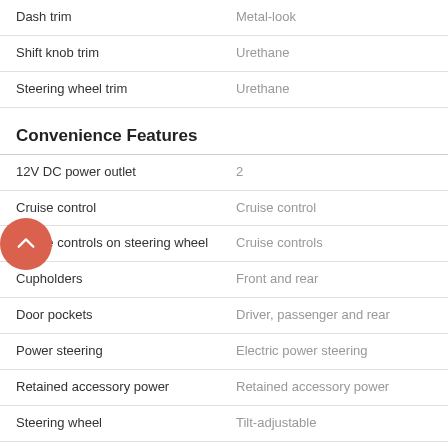| Feature | Value |
| --- | --- |
| Dash trim | Metal-look |
| Shift knob trim | Urethane |
| Steering wheel trim | Urethane |
Convenience Features
| Feature | Value |
| --- | --- |
| 12V DC power outlet | 2 |
| Cruise control | Cruise control |
| Cruise controls on steering wheel | Cruise controls |
| Cupholders | Front and rear |
| Door pockets | Driver, passenger and rear |
| Power steering | Electric power steering |
| Retained accessory power | Retained accessory power |
| Steering wheel | Tilt-adjustable |
| Under Seat Storage | Under seat storage |
Dimensions
| Feature | Value |
| --- | --- |
| Aerodynamic Drag (CD) | .42 cD |